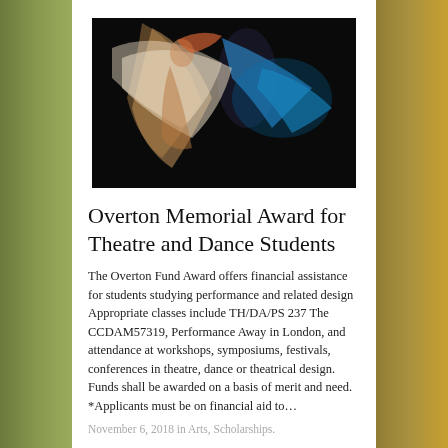[Figure (photo): Two dancers performing with flowing fabric/veils against a dark background with blue lighting]
Overton Memorial Award for Theatre and Dance Students
The Overton Fund Award offers financial assistance for students studying performance and related design Appropriate classes include TH/DA/PS 237 The CCDAM57319, Performance Away in London, and attendance at workshops, symposiums, festivals, conferences in theatre, dance or theatrical design. Funds shall be awarded on a basis of merit and need. *Applicants must be on financial aid to…
November 6, 2018 in Arts, Scholarships.